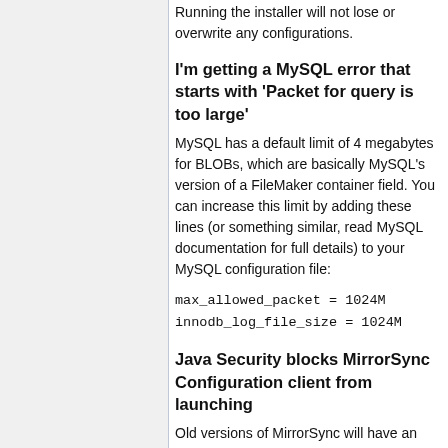Running the installer will not lose or overwrite any configurations.
I'm getting a MySQL error that starts with 'Packet for query is too large'
MySQL has a default limit of 4 megabytes for BLOBs, which are basically MySQL's version of a FileMaker container field. You can increase this limit by adding these lines (or something similar, read MySQL documentation for full details) to your MySQL configuration file:
max_allowed_packet = 1024M
innodb_log_file_size = 1024M
Java Security blocks MirrorSync Configuration client from launching
Old versions of MirrorSync will have an expired developer certificate so Java will keep the applet from launching. The certificate will not be updated on these versions so in order to launch the